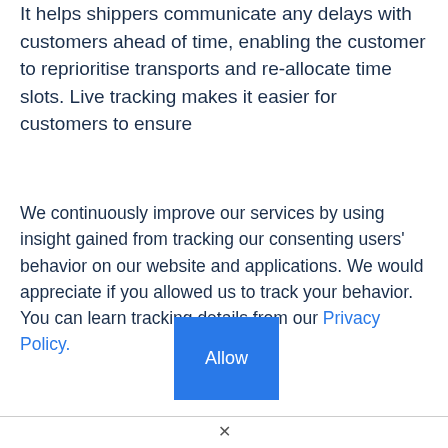It helps shippers communicate any delays with customers ahead of time, enabling the customer to reprioritise transports and re-allocate time slots. Live tracking makes it easier for customers to ensure
We continuously improve our services by using insight gained from tracking our consenting users' behavior on our website and applications. We would appreciate if you allowed us to track your behavior. You can learn tracking details from our Privacy Policy.
[Figure (other): Blue 'Allow' button]
×